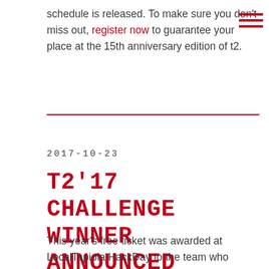schedule is released. To make sure you don't miss out, register now to guarantee your place at the 15th anniversary edition of t2.
T2'17 CHALLENGE WINNER ANNOUNCED
2017-10-23
This year's free ticket was awarded at LocalTapiola HackDay to the team who discovered the most severe vulnerability.